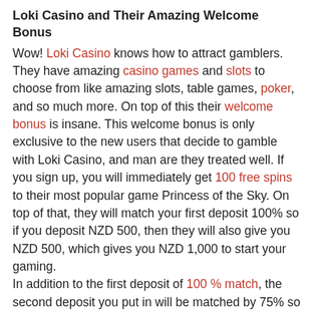Loki Casino and Their Amazing Welcome Bonus
Wow! Loki Casino knows how to attract gamblers. They have amazing casino games and slots to choose from like amazing slots, table games, poker, and so much more. On top of this their welcome bonus is insane. This welcome bonus is only exclusive to the new users that decide to gamble with Loki Casino, and man are they treated well. If you sign up, you will immediately get 100 free spins to their most popular game Princess of the Sky. On top of that, they will match your first deposit 100% so if you deposit NZD 500, then they will also give you NZD 500, which gives you NZD 1,000 to start your gaming. In addition to the first deposit of 100 % match, the second deposit you put in will be matched by 75% so if you were to deposit NZD 100, they'll put NZD 75 in your account, and so on. But wait, they don't stop there, they will put 50 % of your third deposit into your account as more bonus credit. So for example, if you deposited NZD 100 the first